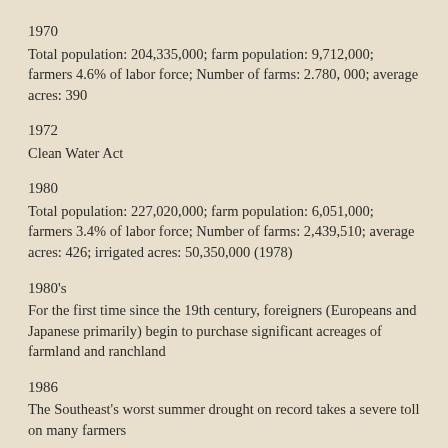1970
Total population: 204,335,000; farm population: 9,712,000; farmers 4.6% of labor force; Number of farms: 2.780, 000; average acres: 390
1972
Clean Water Act
1980
Total population: 227,020,000; farm population: 6,051,000; farmers 3.4% of labor force; Number of farms: 2,439,510; average acres: 426; irrigated acres: 50,350,000 (1978)
1980's
For the first time since the 19th century, foreigners (Europeans and Japanese primarily) begin to purchase significant acreages of farmland and ranchland
1986
The Southeast's worst summer drought on record takes a severe toll on many farmers